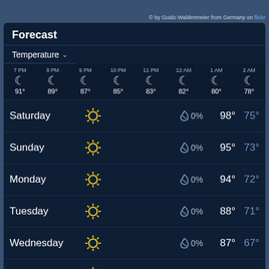© by Guido Waldenmeier from Germany on flickr
Forecast
Temperature ∨
| 7 PM | 8 PM | 9 PM | 10 PM | 11 PM | 12 AM | 1 AM | 2 AM |
| --- | --- | --- | --- | --- | --- | --- | --- |
| 🌙 | 🌙 | 🌙 | 🌙 | 🌙 | 🌙 | 🌙 | 🌙 |
| 91° | 89° | 87° | 85° | 83° | 82° | 80° | 78° |
| Day | Weather | Precip | High | Low |
| --- | --- | --- | --- | --- |
| Saturday | ☀ | 0% | 98° | 75° |
| Sunday | ☀ | 0% | 95° | 73° |
| Monday | ☀ | 0% | 94° | 72° |
| Tuesday | ☀ | 0% | 88° | 71° |
| Wednesday | ☀ | 0% | 87° | 67° |
| Thursday | ☀ | 0% | 91° | 67° |
| Friday | ☀ | 0% | 97° | 73° |